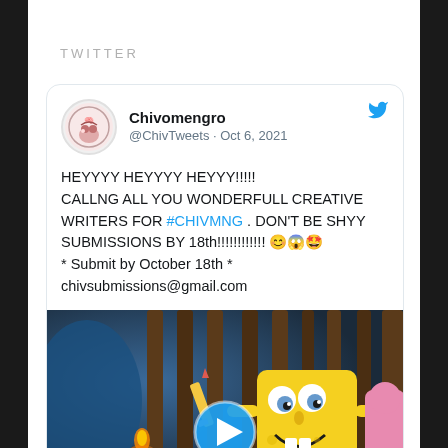TWITTER
Chivomengro
@ChivTweets · Oct 6, 2021
HEYYYY HEYYYY HEYYY!!!!! CALLNG ALL YOU WONDERFULL CREATIVE WRITERS FOR #CHIVMNG . DON'T BE SHYY SUBMISSIONS BY 18th!!!!!!!!!!!! 😊😱🤩
* Submit by October 18th *
chivsubmissions@gmail.com
[Figure (screenshot): SpongeBob SquarePants cartoon screenshot with video play button overlay. SpongeBob holding a pencil with a surprised expression.]